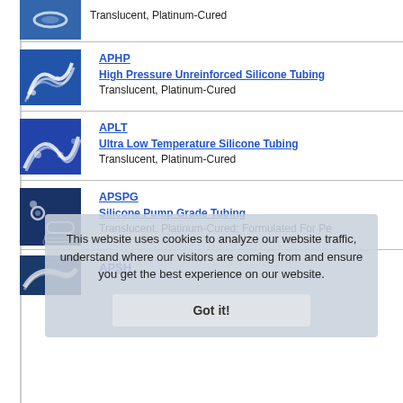[Figure (photo): Silicone tubing on blue background, top partial row]
Translucent, Platinum-Cured
[Figure (photo): APHP silicone tubing on blue background]
APHP
High Pressure Unreinforced Silicone Tubing
Translucent, Platinum-Cured
[Figure (photo): APLT silicone tubing on blue background]
APLT
Ultra Low Temperature Silicone Tubing
Translucent, Platinum-Cured
[Figure (photo): APSPG silicone pump grade tubing with fittings]
APSPG
Silicone Pump Grade Tubing
Translucent, Platinum-Cured; Formulated For Pe
[Figure (photo): APSH reinforced silicone hose, partial view]
APSH
This website uses cookies to analyze our website traffic, understand where our visitors are coming from and ensure you get the best experience on our website.
Got it!